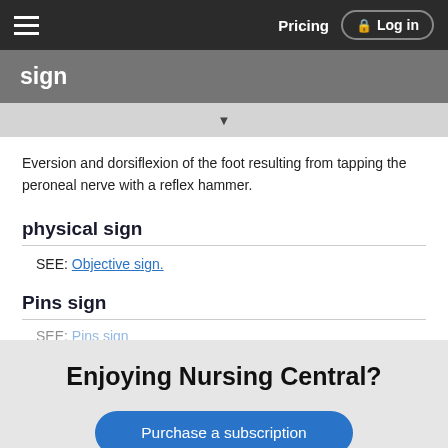sign  |  Pricing  |  Log in
sign
Eversion and dorsiflexion of the foot resulting from tapping the peroneal nerve with a reflex hammer.
physical sign
SEE: Objective sign.
Pins sign
SEE: Pins sign
Enjoying Nursing Central?
Purchase a subscription
I'm already a subscriber